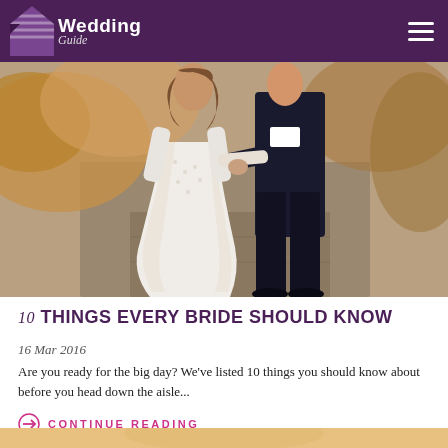Wedding Guide
[Figure (photo): Bride in a white lace long-sleeve gown holding hands with groom in dark suit, walking on a stone path outdoors with warm autumn tones.]
10 THINGS EVERY BRIDE SHOULD KNOW
16 Mar 2016
Are you ready for the big day? We've listed 10 things you should know about before you head down the aisle...
→ CONTINUE READING